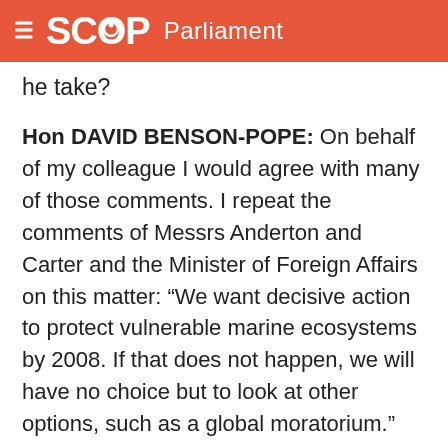SCOOP Parliament
he take?
Hon DAVID BENSON-POPE: On behalf of my colleague I would agree with many of those comments. I repeat the comments of Messrs Anderton and Carter and the Minister of Foreign Affairs on this matter: “We want decisive action to protect vulnerable marine ecosystems by 2008. If that does not happen, we will have no choice but to look at other options, such as a global moratorium.”
Child Safety—Threshold for Removal of Children
11. ANNE TOLLEY (National—East Coast) to the